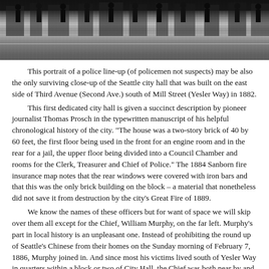[Figure (photo): Black and white historical photograph of a police line-up of policemen standing outdoors in winter/snowy conditions, with buildings visible in the background.]
This portrait of a police line-up (of policemen not suspects) may be also the only surviving close-up of the Seattle city hall that was built on the east side of Third Avenue (Second Ave.) south of Mill Street (Yesler Way) in 1882.
This first dedicated city hall is given a succinct description by pioneer journalist Thomas Prosch in the typewritten manuscript of his helpful chronological history of the city. "The house was a two-story brick of 40 by 60 feet, the first floor being used in the front for an engine room and in the rear for a jail, the upper floor being divided into a Council Chamber and rooms for the Clerk, Treasurer and Chief of Police." The 1884 Sanborn fire insurance map notes that the rear windows were covered with iron bars and that this was the only brick building on the block – a material that nonetheless did not save it from destruction by the city's Great Fire of 1889.
We know the names of these officers but for want of space we will skip over them all except for the Chief, William Murphy, on the far left. Murphy's part in local history is an unpleasant one. Instead of prohibiting the round up of Seattle's Chinese from their homes on the Sunday morning of February 7, 1886, Murphy joined in. And since most his victims lived south of Yesler Way in quarters within a block or two of City Hall, the Chief was both near by and knew on what doors to pound. By the time the county sheriff, deputies and the volunteer home guards were alerted by the ringing of church bells, Murphy and his gang of sinophobes had pushed the resident Chinese and their belongings to the docks.
Remarkably, for this sour performance Murphy was not fired. Instead he was outranked by a new office of inspector of police. The too-human truth is that Murphy's racist behavior was widely popular and required time and a police force stocked with new